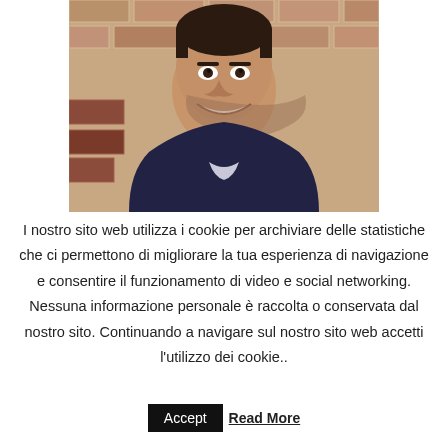[Figure (photo): Headshot of a smiling young man with short dark hair and stubble beard, wearing a dark shirt, standing in front of a brick wall background.]
I nostro sito web utilizza i cookie per archiviare delle statistiche che ci permettono di migliorare la tua esperienza di navigazione e consentire il funzionamento di video e social networking. Nessuna informazione personale è raccolta o conservata dal nostro sito. Continuando a navigare sul nostro sito web accetti l'utilizzo dei cookie..
Accept   Read More